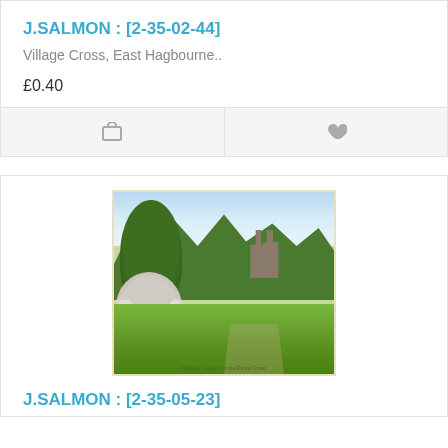J.SALMON : [2-35-02-44]
Village Cross, East Hagbourne..
£0.40
[Figure (illustration): Vintage postcard illustration showing Windsor Castle from the gardens, with large trees, flowering bushes, a green lawn, and the castle tower visible in the background under a blue sky.]
J.SALMON : [2-35-05-23]